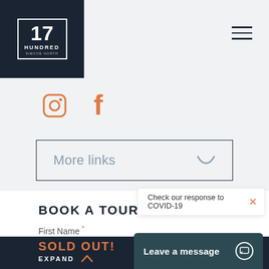[Figure (logo): 17 Hundred Simcoe North logo in white on dark navy background, inside a square border]
[Figure (other): Hamburger menu icon (three horizontal lines) in top right corner]
[Figure (other): Instagram and Facebook social media icons in orange]
More links
Check our response to COVID-19
BOOK A TOUR
First Name *
SOLD OUT!
EXPAND
Leave a message